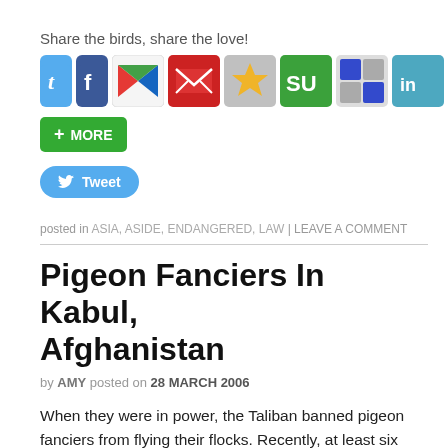Share the birds, share the love!
[Figure (other): Row of social media sharing icon buttons: Twitter, Facebook, Google+, Email, Bookmark, StumbleUpon, Delicious, LinkedIn]
[Figure (other): Green '+ MORE' button and blue 'Tweet' button]
posted in ASIA, ASIDE, ENDANGERED, LAW | LEAVE A COMMENT
Pigeon Fanciers In Kabul, Afghanistan
by AMY posted on 28 MARCH 2006
When they were in power, the Taliban banned pigeon fanciers from flying their flocks. Recently, at least six flocks of pigeons may be seen exercising above the dull rooftops of Kabul on a given